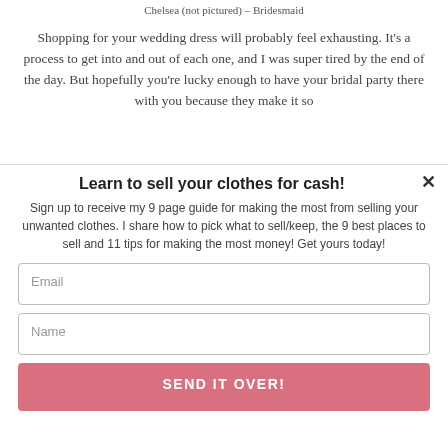Chelsea (not pictured) – Bridesmaid
Shopping for your wedding dress will probably feel exhausting. It's a process to get into and out of each one, and I was super tired by the end of the day. But hopefully you're lucky enough to have your bridal party there with you because they make it so
Learn to sell your clothes for cash!
Sign up to receive my 9 page guide for making the most from selling your unwanted clothes. I share how to pick what to sell/keep, the 9 best places to sell and 11 tips for making the most money! Get yours today!
Email
Name
SEND IT OVER!